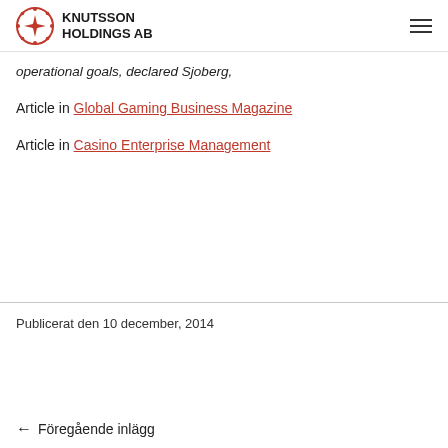Knutsson Holdings AB
operational goals,  declared Sjoberg,
Article in Global Gaming Business Magazine
Article in Casino Enterprise Management
Publicerat den 10 december, 2014
← Föregående inlägg